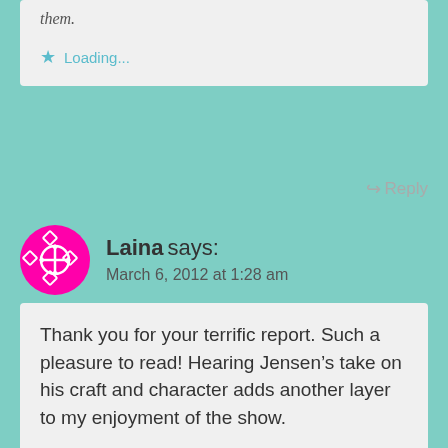them.
Loading...
Reply
Laina says: March 6, 2012 at 1:28 am
Thank you for your terrific report. Such a pleasure to read! Hearing Jensen’s take on his craft and character adds another layer to my enjoyment of the show.
Not sure how I feel about the reset button too. It does have some advantages, that’s true.. But I’d hate to have a third year of Sam’s hellpain, in the same way I hope Dean’s